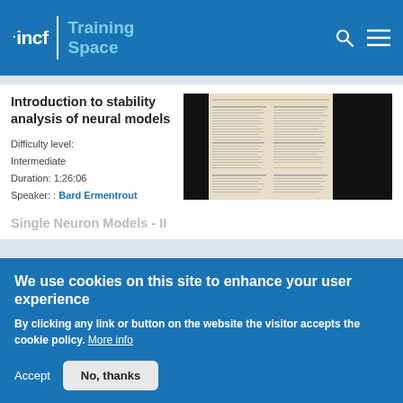incf | Training Space
Introduction to stability analysis of neural models
Difficulty level: Intermediate
Duration: 1:26:06
Speaker: : Bard Ermentrout
[Figure (screenshot): Thumbnail preview of a document page with columns of text on a beige background, surrounded by black bars]
Single Neuron Models - II
We use cookies on this site to enhance your user experience
By clicking any link or button on the website the visitor accepts the cookie policy. More info
Accept   No, thanks